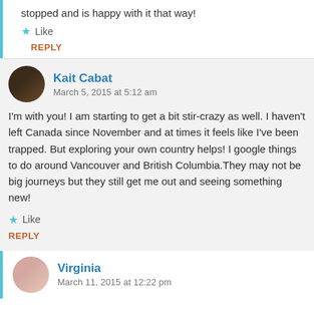stopped and is happy with it that way!
Like
REPLY
Kait Cabat
March 5, 2015 at 5:12 am
I'm with you! I am starting to get a bit stir-crazy as well. I haven't left Canada since November and at times it feels like I've been trapped. But exploring your own country helps! I google things to do around Vancouver and British Columbia.They may not be big journeys but they still get me out and seeing something new!
Like
REPLY
Virginia
March 11, 2015 at 12:22 pm